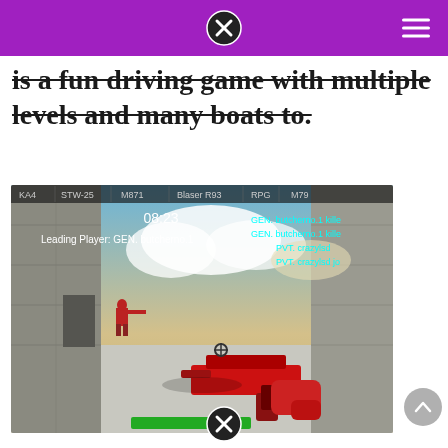is a fun driving game with multiple levels and many boats to.
[Figure (screenshot): Screenshot of a first-person shooter game. Shows a 3D environment with concrete walls and sky. A player character in red is visible in the middle distance. The player holds a red weapon in foreground. HUD shows timer 08:23, leading player GEN. butcherno.1, kill feed messages from GEN. butcherno.1 and PVT. crazylsd. Weapon selection bar at top shows KA4, STW-25, M871, Blaser R93, RPG, M79. Green health bar at bottom center.]